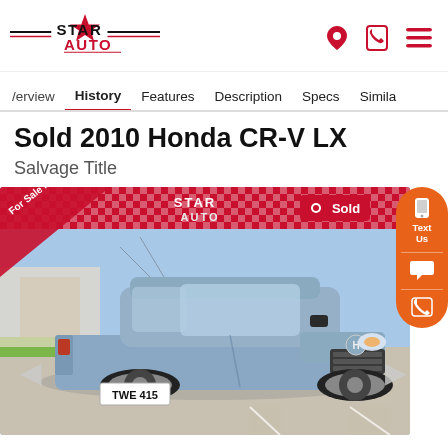Star Auto logo and navigation icons
Overview | History | Features | Description | Specs | Similar
Sold 2010 Honda CR-V LX
Salvage Title
[Figure (photo): 2010 Honda CR-V LX silver/blue SUV parked in a lot. Red checkered banner at top with Star Auto logo and 'For Sale Now' ribbon. 'Sold' badge visible. License plate TWE 415.]